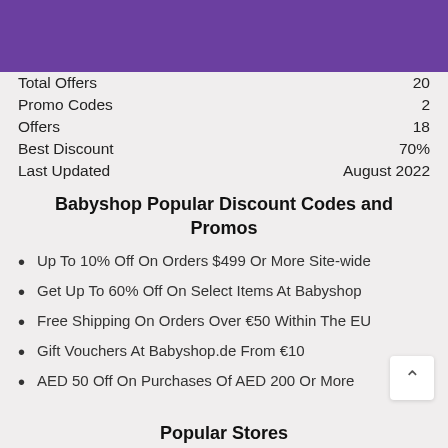[Figure (other): Purple header banner background]
Total Offers   20
Promo Codes   2
Offers   18
Best Discount   70%
Last Updated   August 2022
Babyshop Popular Discount Codes and Promos
Up To 10% Off On Orders $499 Or More Site-wide
Get Up To 60% Off On Select Items At Babyshop
Free Shipping On Orders Over €50 Within The EU
Gift Vouchers At Babyshop.de From €10
AED 50 Off On Purchases Of AED 200 Or More
Popular Stores